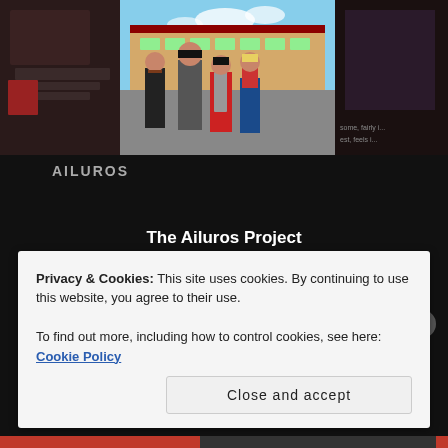[Figure (screenshot): Screenshot of Ailuros visual novel game showing anime-style characters standing in front of a school building. Several character images are shown side by side.]
AILUROS
The Ailuros Project
Together, we can make the world a safer place
Privacy & Cookies: This site uses cookies. By continuing to use this website, you agree to their use.
To find out more, including how to control cookies, see here: Cookie Policy
Close and accept